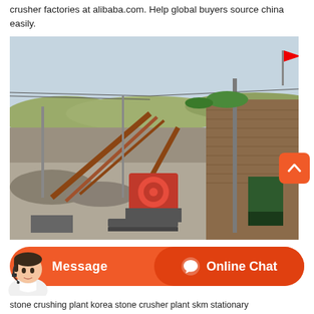crusher factories at alibaba.com. Help global buyers source china easily.
[Figure (photo): Outdoor stone crushing plant facility showing heavy industrial crushers, conveyors, and machinery in an open quarry/industrial yard with brick building, utility poles, and red flag visible in background.]
[Figure (screenshot): Orange chat bar with 'Message' button on left and 'Online Chat' button on right, with a customer service agent avatar image on the far left.]
stone crushing plant korea stone crusher plant skm stationary